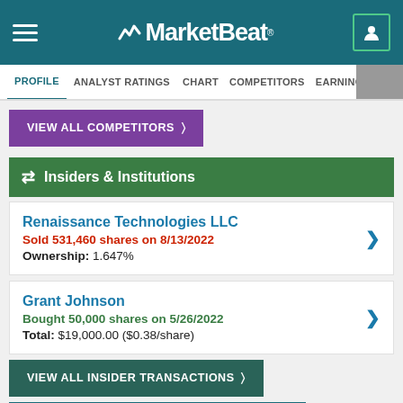MarketBeat
PROFILE  ANALYST RATINGS  CHART  COMPETITORS  EARNINGS  FINANCIAL
VIEW ALL COMPETITORS >
Insiders & Institutions
Renaissance Technologies LLC
Sold 531,460 shares on 8/13/2022
Ownership: 1.647%
Grant Johnson
Bought 50,000 shares on 5/26/2022
Total: $19,000.00 ($0.38/share)
VIEW ALL INSIDER TRANSACTIONS >